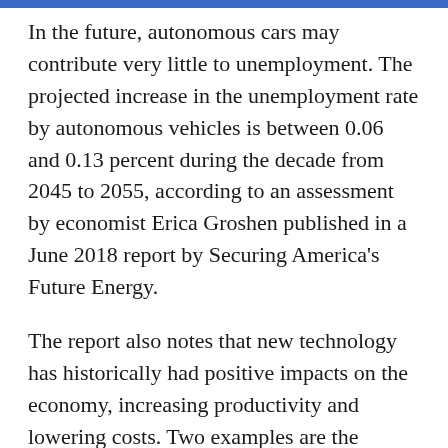In the future, autonomous cars may contribute very little to unemployment. The projected increase in the unemployment rate by autonomous vehicles is between 0.06 and 0.13 percent during the decade from 2045 to 2055, according to an assessment by economist Erica Groshen published in a June 2018 report by Securing America's Future Energy.
The report also notes that new technology has historically had positive impacts on the economy, increasing productivity and lowering costs. Two examples are the internet and the interstate highway system.
The internet boosted company profitability 10 percent in the early 2000s, according to a 2011 study by the McKinsey Global Institute. In turn, the interstate highway